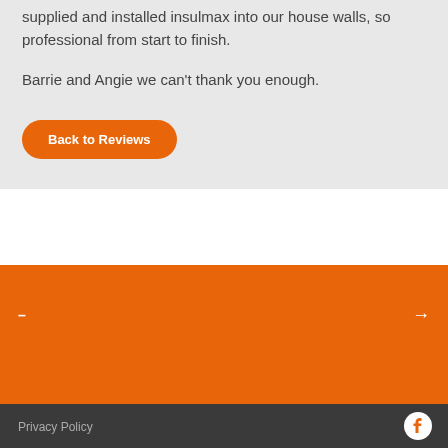supplied and installed insulmax into our house walls, so professional from start to finish.
Barrie and Angie we can't thank you enough.
Back to Reviews
–
→
– –
→
Privacy Policy